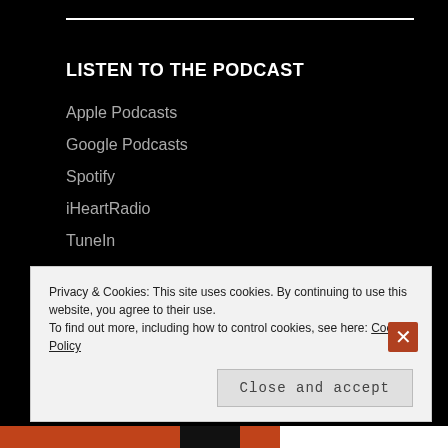LISTEN TO THE PODCAST
Apple Podcasts
Google Podcasts
Spotify
iHeartRadio
TuneIn
Deezer
Spreaker
Stitcher
PlayerFM
Privacy & Cookies: This site uses cookies. By continuing to use this website, you agree to their use.
To find out more, including how to control cookies, see here: Cookie Policy
Close and accept